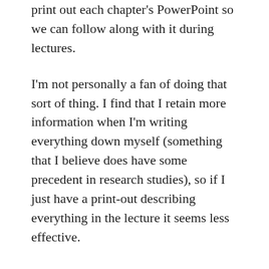print out each chapter's PowerPoint so we can follow along with it during lectures.
I'm not personally a fan of doing that sort of thing. I find that I retain more information when I'm writing everything down myself (something that I believe does have some precedent in research studies), so if I just have a print-out describing everything in the lecture it seems less effective.
So I decided to skip out on printing the PowerPoint and instead relied on good-old-fashioned note taking as usual.
Except apparently that suggestion to print out PowerPoints for each chapter was more of an expectation that we would be doing it.
Because this professor apparently zooms through his lecture so fast that I now have to go back and copy